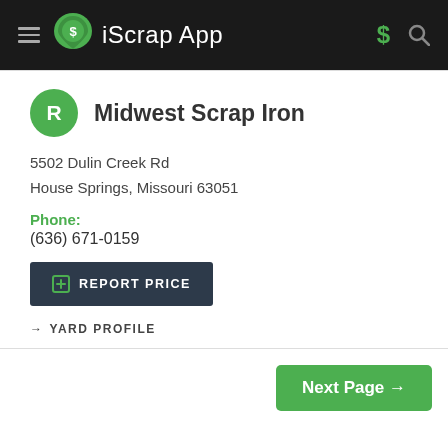iScrap App
Midwest Scrap Iron
5502 Dulin Creek Rd
House Springs, Missouri 63051
Phone:
(636) 671-0159
REPORT PRICE
→ YARD PROFILE
Next Page →